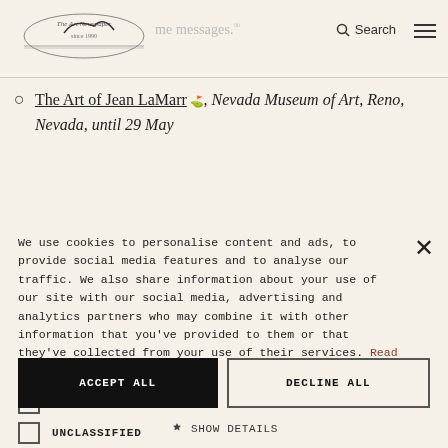…some messages. [logo] Search [menu]
The Art of Jean LaMarr [external link], Nevada Museum of Art, Reno, Nevada, until 29 May
We use cookies to personalise content and ads, to provide social media features and to analyse our traffic. We also share information about your use of our site with our social media, advertising and analytics partners who may combine it with other information that you've provided to them or that they've collected from your use of their services. Read more
STRICTLY NECESSARY (checked)
TARGETING (unchecked)
UNCLASSIFIED (unchecked)
ACCEPT ALL
DECLINE ALL
SHOW DETAILS